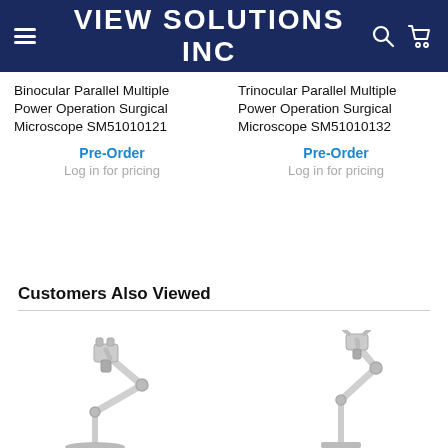VIEW SOLUTIONS INC
Binocular Parallel Multiple Power Operation Surgical Microscope SM51010121
Pre-Order
Log in for pricing
Trinocular Parallel Multiple Power Operation Surgical Microscope SM51010132
Pre-Order
Log in for pricing
Customers Also Viewed
[Figure (photo): Surgical microscope on articulating arm stand, white/grey color, floor standing model, binocular head visible]
[Figure (photo): Surgical microscope on articulating arm stand, white/grey color, floor standing model, binocular/trinocular head visible]